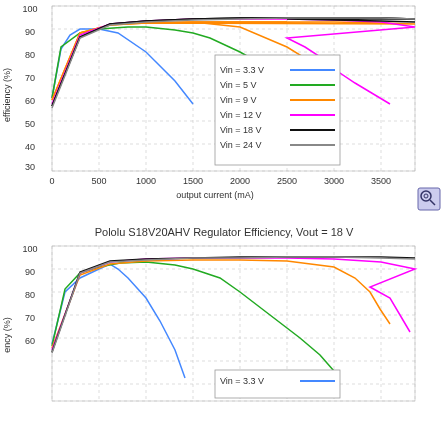[Figure (line-chart): efficiency vs output current (Vout ~12V region)]
Pololu S18V20AHV Regulator Efficiency, Vout = 18 V
[Figure (line-chart): Pololu S18V20AHV Regulator Efficiency, Vout = 18 V]